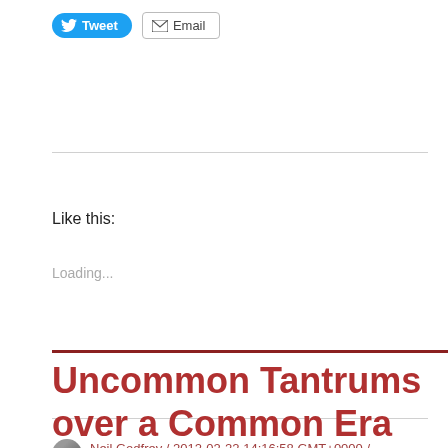[Figure (other): Tweet and Email social sharing buttons]
Like this:
Loading...
Neil Godfrey / 2012-02-22 14:16:58 GMT+0000 / Vridar / Christ Myth Debate, Vridar blog / 1 Comment
Uncommon Tantrums over a Common Era